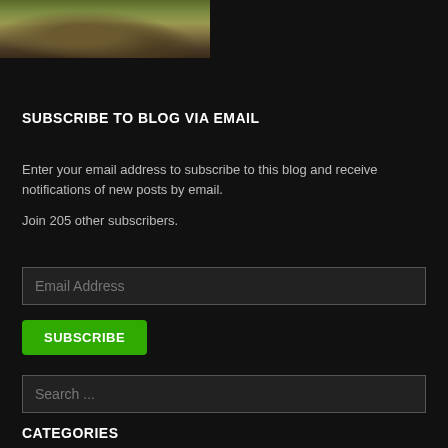[Figure (photo): Partial photo showing lower body of a person standing outdoors on grass/ground, wearing dark clothing and brown shoes/boots]
SUBSCRIBE TO BLOG VIA EMAIL
Enter your email address to subscribe to this blog and receive notifications of new posts by email.
Join 205 other subscribers.
Email Address
SUBSCRIBE
Search ...
CATEGORIES